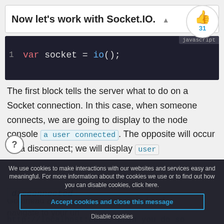Now let's work with Socket.IO.
[Figure (illustration): Thumbs up icon with count 31 in a circle]
[Figure (screenshot): Code block showing: 1  var socket = io();  with JavaScript language tag]
The first block tells the server what to do on a Socket connection. In this case, when someone connects, we are going to display to the node console a user connected. The opposite will occur for a disconnect; we will display user disconnected
Go ahead and fire up your server and and navigate to your url
http://localhost:8080. When you do so
We use cookies to make interactions with our websites and services easy and meaningful. For more information about the cookies we use or to find out how you can disable cookies, click here.
Accept cookies and close this message
Disable cookies